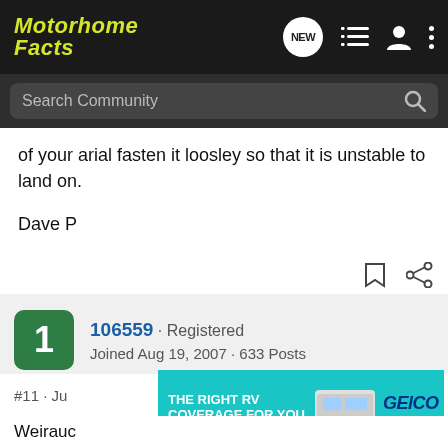Motorhome Facts
of your arial fasten it loosley so that it is unstable to land on.

Dave P
106559 · Registered
Joined Aug 19, 2007 · 633 Posts
#11 · Ju...
Weirauc...